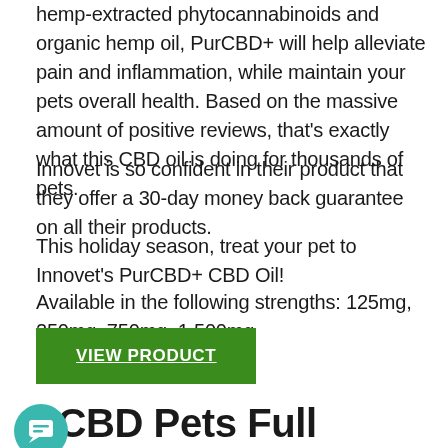hemp-extracted phytocannabinoids and organic hemp oil, PurCBD+ will help alleviate pain and inflammation, while maintain your pets overall health. Based on the massive amount of positive reviews, that's exactly what this CBD oil is doing for thousands of pets.
Innovet is so confident in their product that they offer a 30-day money back guarantee on all their products.
This holiday season, treat your pet to Innovet's PurCBD+ CBD Oil!
Available in the following strengths: 125mg, 250mg, 750mg, 1,500mg
VIEW PRODUCT
i CBD Pets Full Spectrum CBD Soft Chows